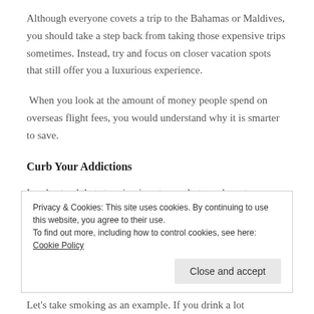Although everyone covets a trip to the Bahamas or Maldives, you should take a step back from taking those expensive trips sometimes. Instead, try and focus on closer vacation spots that still offer you a luxurious experience.
When you look at the amount of money people spend on overseas flight fees, you would understand why it is smarter to save.
Curb Your Addictions
I understand that stooping is not easy, but you have to
Privacy & Cookies: This site uses cookies. By continuing to use this website, you agree to their use.
To find out more, including how to control cookies, see here: Cookie Policy
Let's take smoking as an example. If you drink a lot